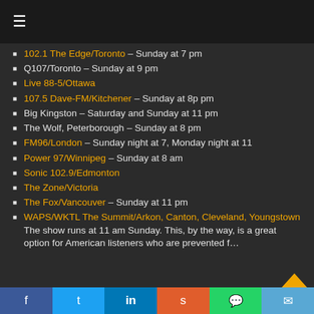≡ (menu icon)
102.1 The Edge/Toronto – Sunday at 7 pm
Q107/Toronto – Sunday at 9 pm
Live 88-5/Ottawa
107.5 Dave-FM/Kitchener – Sunday at 8p pm
Big Kingston – Saturday and Sunday at 11 pm
The Wolf, Peterborough – Sunday at 8 pm
FM96/London – Sunday night at 7, Monday night at 11
Power 97/Winnipeg – Sunday at 8 am
Sonic 102.9/Edmonton
The Zone/Victoria
The Fox/Vancouver – Sunday at 11 pm
WAPS/WKTL The Summit/Arkon, Canton, Cleveland, Youngstown The show runs at 11 am Sunday. This, by the way, is a great option for American listeners who are prevented f…